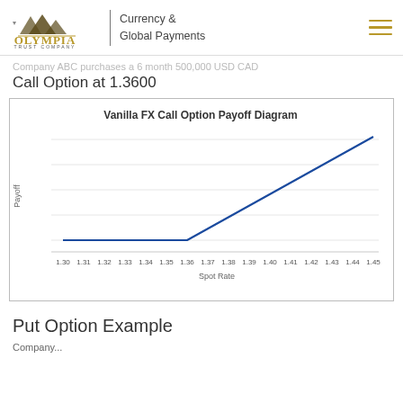Olympia Trust Company | Currency & Global Payments
Company ABC purchases a 6 month 500,000 USD CAD Call Option at 1.3600
[Figure (continuous-plot): A call option payoff diagram showing flat payoff (at a negative/zero level) for spot rates from 1.30 to 1.36, then rising linearly from 1.36 to 1.45 as payoff increases with spot rate above the strike of 1.3600.]
Put Option Example
Company...